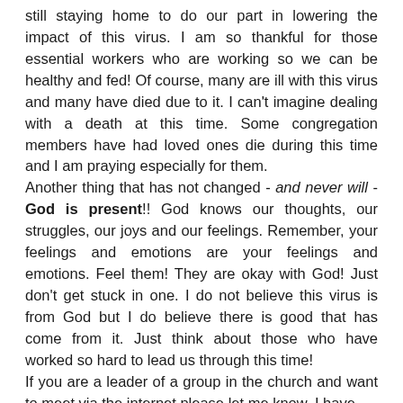still staying home to do our part in lowering the impact of this virus. I am so thankful for those essential workers who are working so we can be healthy and fed! Of course, many are ill with this virus and many have died due to it. I can't imagine dealing with a death at this time. Some congregation members have had loved ones die during this time and I am praying especially for them.
Another thing that has not changed - and never will - God is present!! God knows our thoughts, our struggles, our joys and our feelings. Remember, your feelings and emotions are your feelings and emotions. Feel them! They are okay with God! Just don't get stuck in one. I do not believe this virus is from God but I do believe there is good that has come from it. Just think about those who have worked so hard to lead us through this time!
If you are a leader of a group in the church and want to meet via the internet please let me know. I have